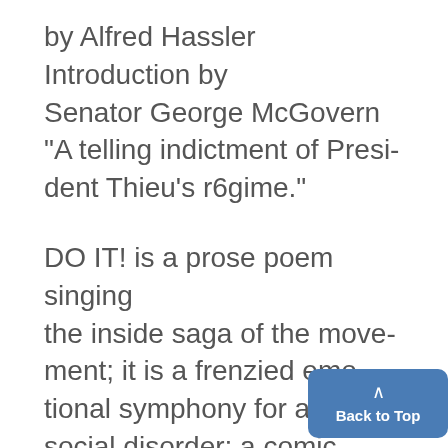by Alfred Hassler Introduction by Senator George McGovern "A telling indictment of President Thieu's r6gime."
DO IT! is a prose poem singing the inside saga of the movement; it is a frenzied emotional symphony for a new social disorder; a comic book for seven-year-olds; a tribute to insanity. Eldridge Cleaver has written